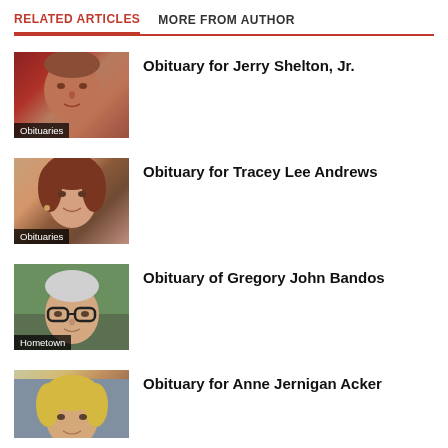RELATED ARTICLES   MORE FROM AUTHOR
[Figure (photo): Headshot photo of Jerry Shelton Jr. with American flag background, labeled Obituaries]
Obituary for Jerry Shelton, Jr.
[Figure (photo): Headshot photo of Tracey Lee Andrews, smiling woman with brown hair, labeled Obituaries]
Obituary for Tracey Lee Andrews
[Figure (photo): Headshot photo of Gregory John Bandos wearing glasses, labeled Hometown]
Obituary of Gregory John Bandos
[Figure (photo): Headshot photo of Anne Jernigan Acker, woman with blonde hair]
Obituary for Anne Jernigan Acker